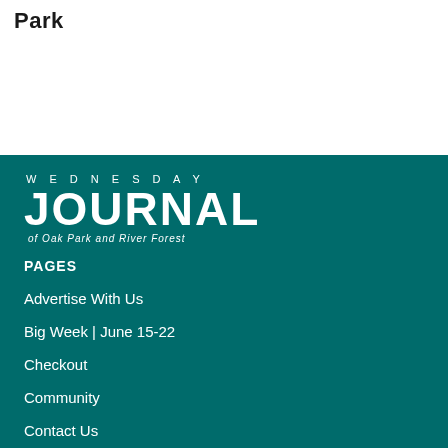Park
[Figure (logo): Wednesday Journal of Oak Park and River Forest logo — white text on teal background]
PAGES
Advertise With Us
Big Week | June 15-22
Checkout
Community
Contact Us
Donate
Eats Newsletter
FAQ